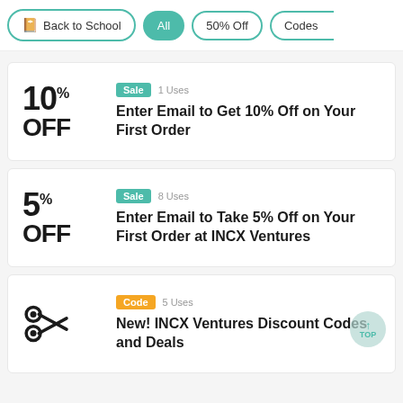Back to School | All | 50% Off | Codes
Sale | 1 Uses — Enter Email to Get 10% Off on Your First Order
Sale | 8 Uses — Enter Email to Take 5% Off on Your First Order at INCX Ventures
Code | 5 Uses — New! INCX Ventures Discount Codes and Deals